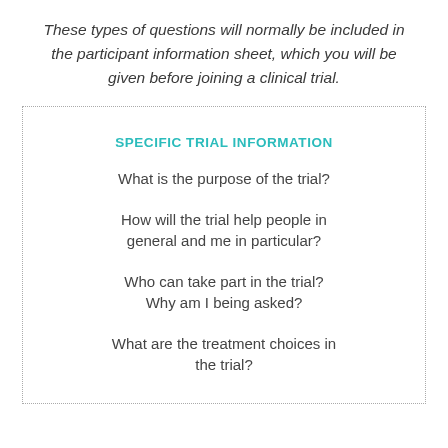These types of questions will normally be included in the participant information sheet, which you will be given before joining a clinical trial.
SPECIFIC TRIAL INFORMATION
What is the purpose of the trial?
How will the trial help people in general and me in particular?
Who can take part in the trial? Why am I being asked?
What are the treatment choices in the trial?